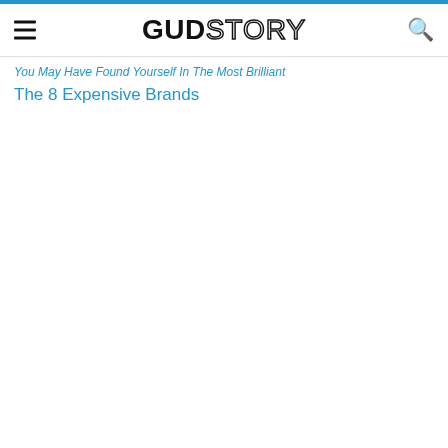GUDSTORY
You May Have Found Yourself In The Most Brilliant The 8 Expensive Brands